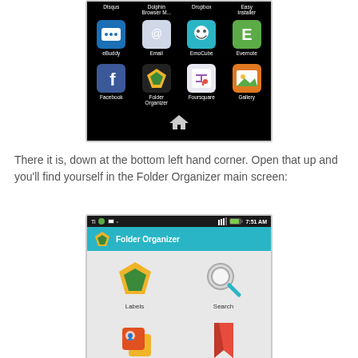[Figure (screenshot): Android phone app drawer showing icons including Disqus, Dolphin Browser, Dropbox, Easy Installer, eBuddy, Email, EmoCube, Evernote, Facebook, Folder Organizer, Foursquare, Gallery, with a home button at the bottom]
There it is, down at the bottom left hand corner. Open that up and you'll find yourself in the Folder Organizer main screen:
[Figure (screenshot): Android phone showing Folder Organizer main screen with Labels, Search, Apps, and Bookmarks options]